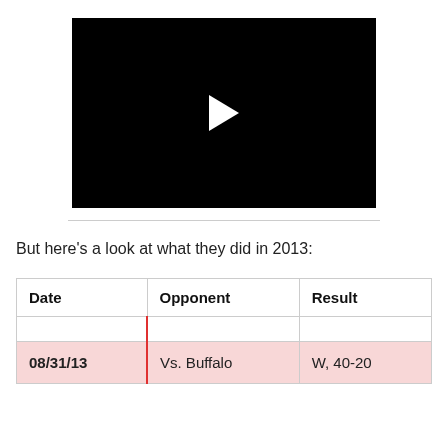[Figure (screenshot): Black video player with a white play button triangle in the center]
But here's a look at what they did in 2013:
| Date | Opponent | Result |
| --- | --- | --- |
| 08/31/13 | Vs. Buffalo | W, 40-20 |